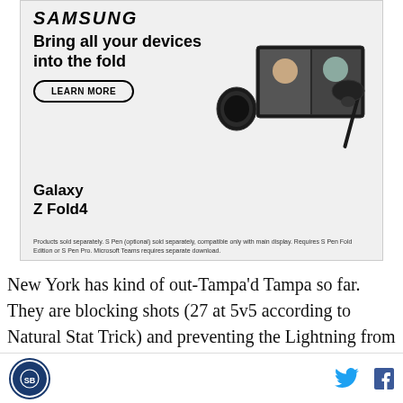[Figure (photo): Samsung advertisement for Galaxy Z Fold4. Shows Samsung logo at top, headline 'Bring all your devices into the fold', a 'LEARN MORE' button, product images of Galaxy Z Fold4 phone open showing video call, Galaxy Watch, earbuds, and S Pen, with the text 'Galaxy Z Fold4' and a footnote about products sold separately.]
New York has kind of out-Tampa'd Tampa so far. They are blocking shots (27 at 5v5 according to Natural Stat Trick) and preventing the Lightning from getting to rebounds. When the Lightning blueline pinches, they are transitioning quickly through the neutral zone and